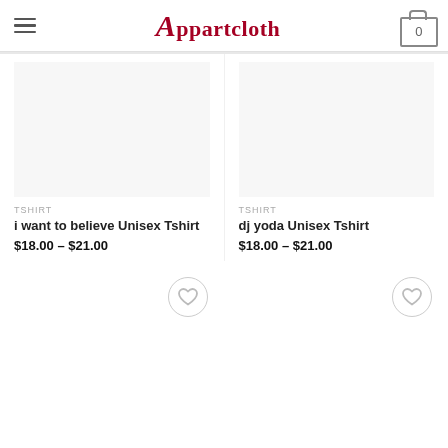Appartcloth
[Figure (other): Product image placeholder for i want to believe Unisex Tshirt]
TSHIRT
i want to believe Unisex Tshirt
$18.00 – $21.00
[Figure (other): Product image placeholder for dj yoda Unisex Tshirt]
TSHIRT
dj yoda Unisex Tshirt
$18.00 – $21.00
[Figure (other): Wishlist heart button for third product]
[Figure (other): Wishlist heart button for fourth product]